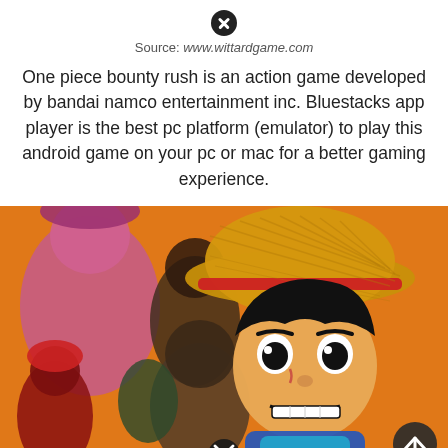[Figure (other): Close button (X) icon at top center of modal/popup]
Source: www.wittardgame.com
One piece bounty rush is an action game developed by bandai namco entertainment inc. Bluestacks app player is the best pc platform (emulator) to play this android game on your pc or mac for a better gaming experience.
[Figure (photo): Screenshot or promotional artwork from One Piece Bounty Rush game, showing anime-style characters including Luffy in a straw hat on an orange background, with other One Piece characters behind him.]